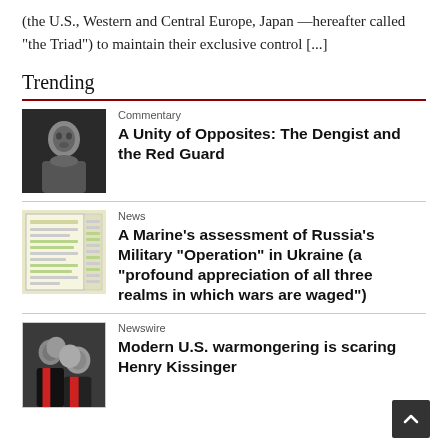(the U.S., Western and Central Europe, Japan —hereafter called “the Triad”) to maintain their exclusive control [...]
Trending
Commentary
A Unity of Opposites: The Dengist and the Red Guard
[Figure (photo): Black and white portrait photo of Mao Zedong]
News
A Marine’s assessment of Russia’s Military “Operation” in Ukraine (a “profound appreciation of all three realms in which wars are waged”)
[Figure (photo): Photo of a document page with highlighted text]
Newswire
Modern U.S. warmongering is scaring Henry Kissinger
[Figure (photo): Photo of two men in suits, one appears to be Biden]